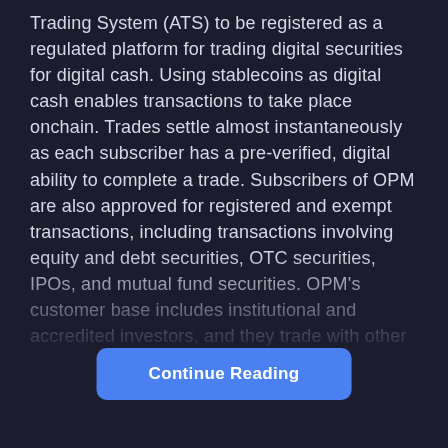Trading System (ATS) to be registered as a regulated platform for trading digital securities for digital cash. Using stablecoins as digital cash enables transactions to take place onchain. Trades settle almost instantaneously as each subscriber has a pre-verified, digital ability to complete a trade. Subscribers of OPM are also approved for registered and exempt transactions, including transactions involving equity and debt securities, OTC securities, IPOs, and mutual fund securities. OPM's customer base includes institutional and accredited investors, and they trade with other broker-dealers.
We believe that OPM is positioned at the forefront of digital securities innovation by leveraging blockchain and smart contract technology to expedite the transfer and settlement of assets. Beyond this, its real-time price data is one for both its markets products and its systems...